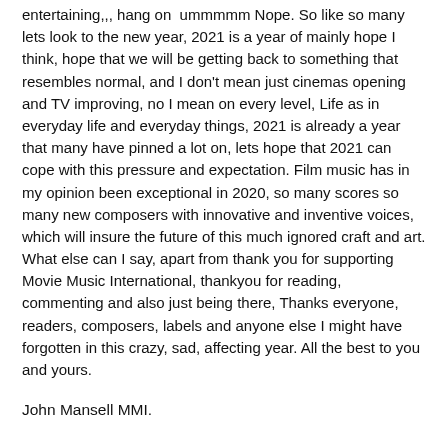entertaining,,, hang on  ummmmm Nope. So like so many lets look to the new year, 2021 is a year of mainly hope I think, hope that we will be getting back to something that resembles normal, and I don't mean just cinemas opening and TV improving, no I mean on every level, Life as in everyday life and everyday things, 2021 is already a year that many have pinned a lot on, lets hope that 2021 can cope with this pressure and expectation. Film music has in my opinion been exceptional in 2020, so many scores so many new composers with innovative and inventive voices, which will insure the future of this much ignored craft and art. What else can I say, apart from thank you for supporting Movie Music International, thankyou for reading, commenting and also just being there, Thanks everyone, readers, composers, labels and anyone else I might have forgotten in this crazy, sad, affecting year. All the best to you and yours.
John Mansell MMI.